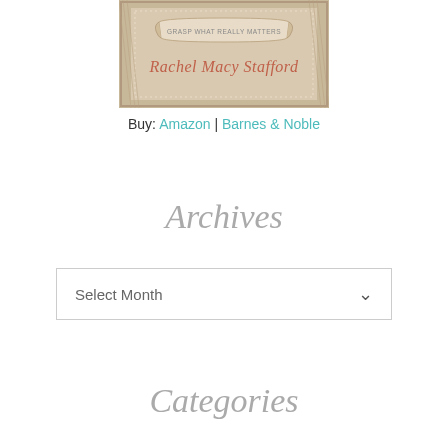[Figure (illustration): Book cover illustration for Rachel Macy Stafford book with 'GRASP WHAT REALLY MATTERS' text on a scroll and the author's name in cursive script on a tan/beige textured background with decorative border]
Buy: Amazon | Barnes & Noble
Archives
Select Month
Categories